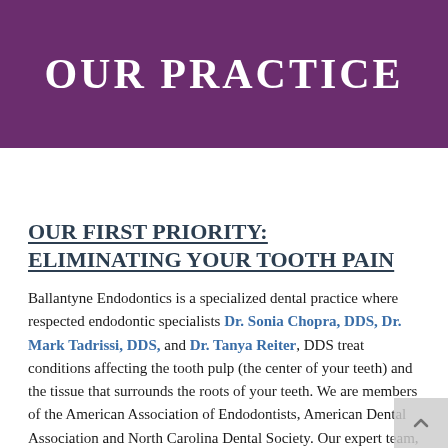OUR PRACTICE
OUR FIRST PRIORITY: ELIMINATING YOUR TOOTH PAIN
Ballantyne Endodontics is a specialized dental practice where respected endodontic specialists Dr. Sonia Chopra, DDS, Dr. Mark Tadrissi, DDS, and Dr. Tanya Reiter, DDS treat conditions affecting the tooth pulp (the center of your teeth) and the tissue that surrounds the roots of your teeth. We are members of the American Association of Endodontists, American Dental Association and North Carolina Dental Society. Our expert team, trained and led by Dr. Chopra, is dedicated to serving the staff...